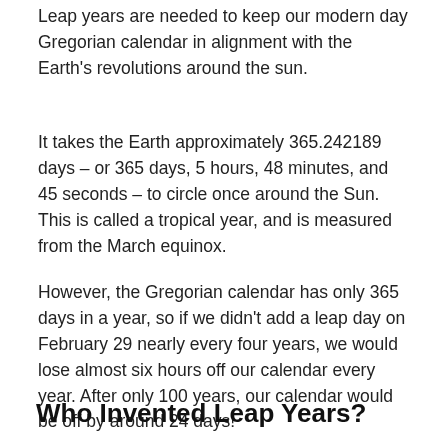Leap years are needed to keep our modern day Gregorian calendar in alignment with the Earth's revolutions around the sun.
It takes the Earth approximately 365.242189 days – or 365 days, 5 hours, 48 minutes, and 45 seconds – to circle once around the Sun. This is called a tropical year, and is measured from the March equinox.
However, the Gregorian calendar has only 365 days in a year, so if we didn't add a leap day on February 29 nearly every four years, we would lose almost six hours off our calendar every year. After only 100 years, our calendar would be off by around 24 days!
Who Invented Leap Years?